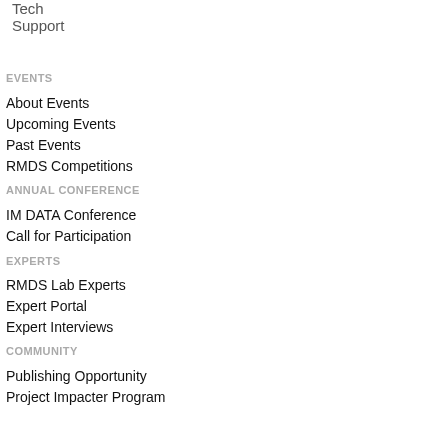Tech Support
EVENTS
About Events
Upcoming Events
Past Events
RMDS Competitions
ANNUAL CONFERENCE
IM DATA Conference
Call for Participation
EXPERTS
RMDS Lab Experts
Expert Portal
Expert Interviews
COMMUNITY
Publishing Opportunity
Project Impacter Program